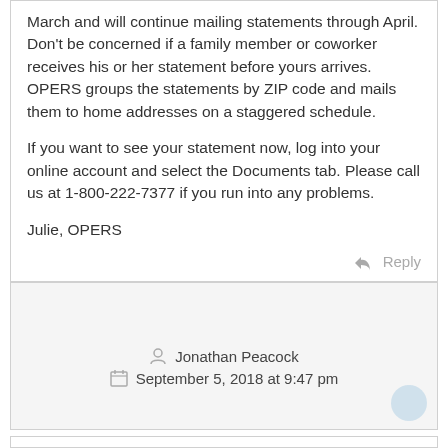March and will continue mailing statements through April. Don't be concerned if a family member or coworker receives his or her statement before yours arrives. OPERS groups the statements by ZIP code and mails them to home addresses on a staggered schedule.

If you want to see your statement now, log into your online account and select the Documents tab. Please call us at 1-800-222-7377 if you run into any problems.

Julie, OPERS
Reply
Jonathan Peacock
September 5, 2018 at 9:47 pm